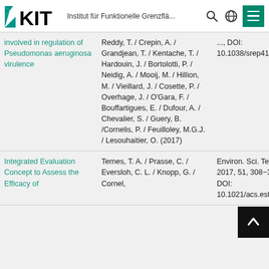KIT – Institut für Funktionelle Grenzflä...
| Title | Authors | Publication |
| --- | --- | --- |
| sRNAs/RNAZIs involved in regulation of Pseudomonas aeruginosa virulence | Reddy, T. / Crepin, A. / Grandjean, T. / Kentache, T. / Hardouin, J. / Bortolotti, P. / Neidig, A. / Mooij, M. / Hillion, M. / Vieillard, J. / Cosette, P. / Overhage, J. / O'Gara, F. / Bouffartigues, E. / Dufour, A. / Chevalier, S. / Guery, B. /Cornelis, P. / Feuilloley, M.G.J. / Lesouhaitier, O. (2017) | ..., DOI: 10.1038/srep41178 |
| Integrated Evaluation Concept to Assess the Efficacy of | Ternes, T. A. / Prasse, C. / Eversloh, C. L. / Knopp, G. / Cornel, | Environ. Sci. Technol. 2017, 51, 308−319, DOI: 10.1021/acs.est.6b |